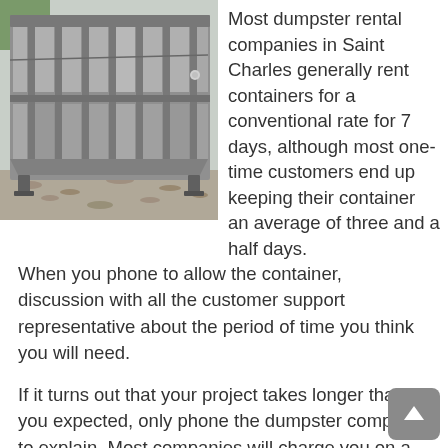[Figure (photo): A large gray metal roll-off dumpster container sitting on gravel outdoors, photographed from a side angle showing its ribbed steel construction.]
Most dumpster rental companies in Saint Charles generally rent containers for a conventional rate for 7 days, although most one-time customers end up keeping their container an average of three and a half days. When you phone to allow the container, discussion with all the customer support representative about the period of time you think you will need.
If it turns out that your project takes longer than you expected, only phone the dumpster company to explain. Most companies will charge you on a per-day basis after your first seven days. It is very important to convey this additional need when you know you